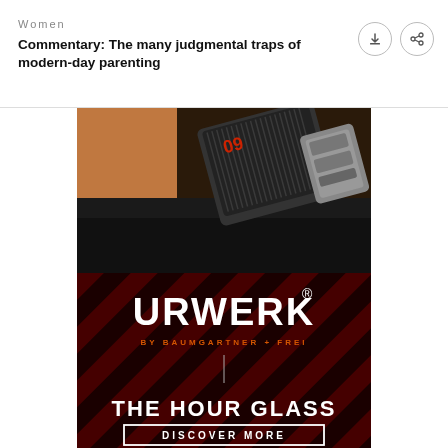Women
Commentary: The many judgmental traps of modern-day parenting
[Figure (photo): Advertisement for URWERK watches by Baumgartner + Frei, showing a luxury watch/timepiece device held in a hand against dark background, with red diagonal stripe design, URWERK logo, and The Hour Glass branding with a Discover More button.]